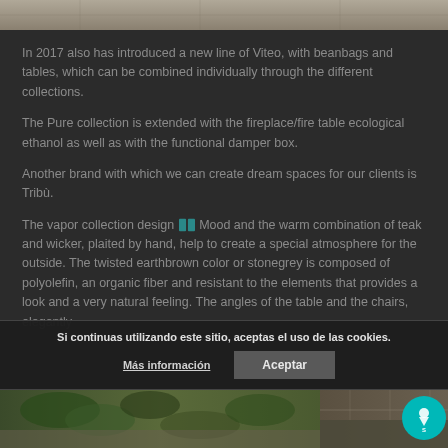[Figure (photo): Top portion of an outdoor furniture photo, partially visible at the top of the page]
In 2017 also has introduced a new line of Viteo, with beanbags and tables, which can be combined individually through the different collections.
The Pure collection is extended with the fireplace/fire table ecological ethanol as well as with the functional damper box.
Another brand with which we can create dream spaces for our clients is Tribù.
The vapor collection design Mood and the warm combination of teak and wicker, plaited by hand, help to create a special atmosphere for the outside. The twisted earthbrown color or stonegrey is composed of polyolefin, an organic fiber and resistant to the elements that provides a look and a very natural feeling. The angles of the table and the chairs, elegantly
Si continuas utilizando este sitio, aceptas el uso de las cookies.
Más información
Aceptar
[Figure (photo): Bottom strip showing outdoor furniture and architectural setting photos]